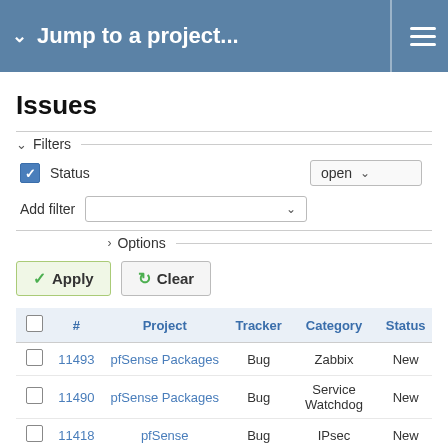Jump to a project...
Issues
Filters
Status: open
Add filter
Options
Apply  Clear
|  | # | Project | Tracker | Category | Status |
| --- | --- | --- | --- | --- | --- |
|  | 11493 | pfSense Packages | Bug | Zabbix | New |
|  | 11490 | pfSense Packages | Bug | Service Watchdog | New |
|  | 11418 | pfSense | Bug | IPsec | New |
|  | 11169 | pfSense | Feature | Interfaces | New |
|  | 11165 | pfSense Packages | Feature | OpenVPN Client Export | New |